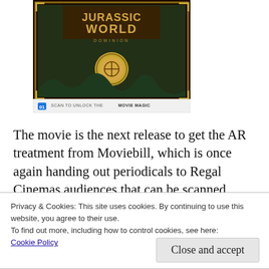[Figure (photo): Jurassic World movie Moviebill cover with AR scan prompt at the bottom reading 'SCAN TO UNLOCK THE MOVIE MAGIC']
The movie is the next release to get the AR treatment from Moviebill, which is once again handing out periodicals to Regal Cinemas audiences that can be scanned using the Regal app to unlock exclusive content, including interviews (in print and AR format) with star
Privacy & Cookies: This site uses cookies. By continuing to use this website, you agree to their use.
To find out more, including how to control cookies, see here:
Cookie Policy
Close and accept